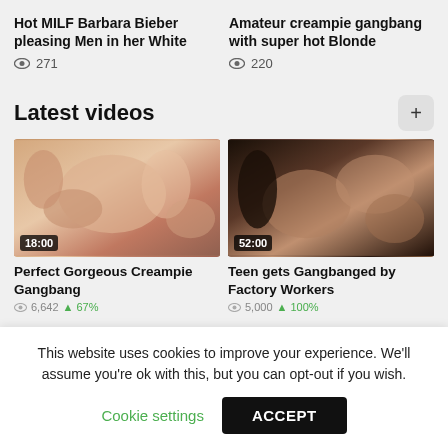Hot MILF Barbara Bieber pleasing Men in her White
👁 271
Amateur creampie gangbang with super hot Blonde
👁 220
Latest videos
[Figure (photo): Video thumbnail with duration badge 18:00 - Perfect Gorgeous Creampie Gangbang]
Perfect Gorgeous Creampie Gangbang
6642 views, 67% rating
[Figure (photo): Video thumbnail with duration badge 52:00 - Teen gets Gangbanged by Factory Workers]
Teen gets Gangbanged by Factory Workers
5000 views, 100% rating
This website uses cookies to improve your experience. We'll assume you're ok with this, but you can opt-out if you wish.
Cookie settings
ACCEPT